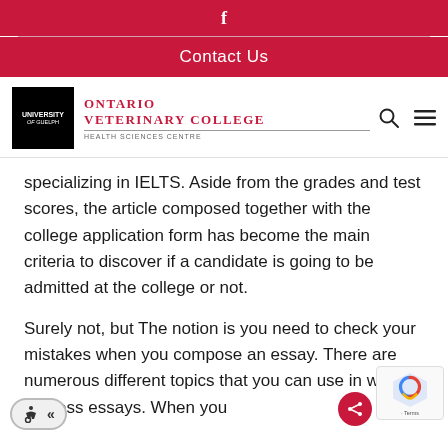f
Contact Us
[Figure (logo): University of Guelph / Ontario Veterinary College Health Sciences Centre logo with navigation icons]
specializing in IELTS. Aside from the grades and test scores, the article composed together with the college application form has become the main criteria to discover if a candidate is going to be admitted at the college or not.
Surely not, but The notion is you need to check your mistakes when you compose an essay. There are numerous different topics that you can use in writing process essays. When you